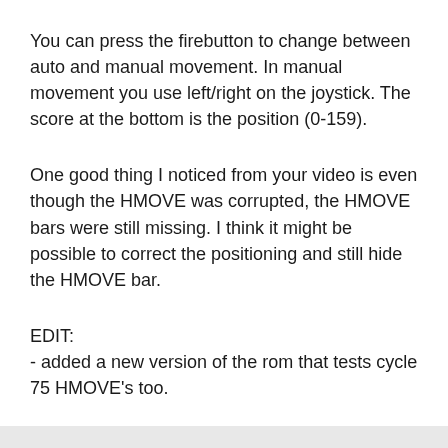You can press the firebutton to change between auto and manual movement. In manual movement you use left/right on the joystick. The score at the bottom is the position (0-159).
One good thing I noticed from your video is even though the HMOVE was corrupted, the HMOVE bars were still missing. I think it might be possible to correct the positioning and still hide the HMOVE bar.
EDIT:
- added a new version of the rom that tests cycle 75 HMOVE's too.